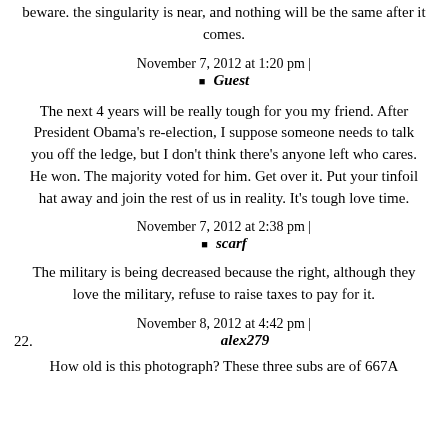beware. the singularity is near, and nothing will be the same after it comes.
November 7, 2012 at 1:20 pm |
Guest
The next 4 years will be really tough for you my friend. After President Obama's re-election, I suppose someone needs to talk you off the ledge, but I don't think there's anyone left who cares. He won. The majority voted for him. Get over it. Put your tinfoil hat away and join the rest of us in reality. It's tough love time.
November 7, 2012 at 2:38 pm |
scarf
The military is being decreased because the right, although they love the military, refuse to raise taxes to pay for it.
November 8, 2012 at 4:42 pm |
22.    alex279
How old is this photograph? These three subs are of 667A